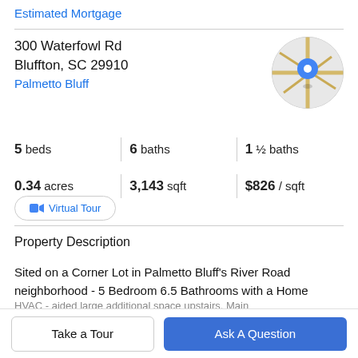Estimated Mortgage
300 Waterfowl Rd
Bluffton, SC 29910
Palmetto Bluff
[Figure (map): Circular map thumbnail showing street map with blue location pin]
5 beds   6 baths   1 ½ baths
0.34 acres   3,143 sqft   $826 / sqft
Virtual Tour
Property Description
Sited on a Corner Lot in Palmetto Bluff's River Road neighborhood - 5 Bedroom 6.5 Bathrooms with a Home
Take a Tour
Ask A Question